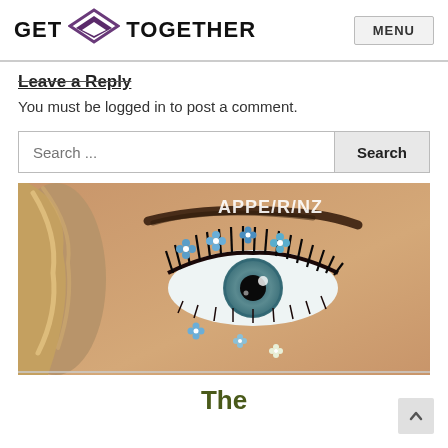GET TOGETHER  MENU
Leave a Reply
You must be logged in to post a comment.
Search ...  Search
[Figure (photo): Close-up photo of a woman's eye with decorative blue flower stickers applied around the eye and on the cheek. Text overlay reads 'APPE/R/NZ'.]
The